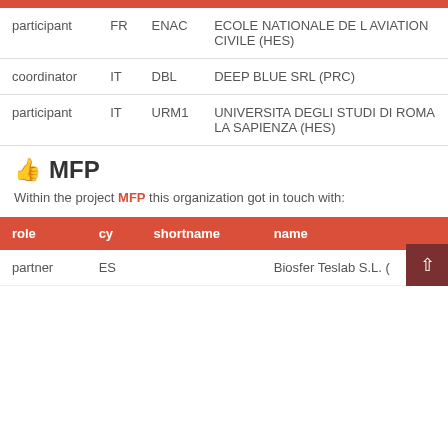| role | cy | shortname | name |
| --- | --- | --- | --- |
| participant | FR | ENAC | ECOLE NATIONALE DE L AVIATION CIVILE (HES) |
| coordinator | IT | DBL | DEEP BLUE SRL (PRC) |
| participant | IT | URM1 | UNIVERSITA DEGLI STUDI DI ROMA LA SAPIENZA (HES) |
MFP
Within the project MFP this organization got in touch with:
| role | cy | shortname | name |
| --- | --- | --- | --- |
| partner | ES |  | Biosfer Teslab S.L. ( |